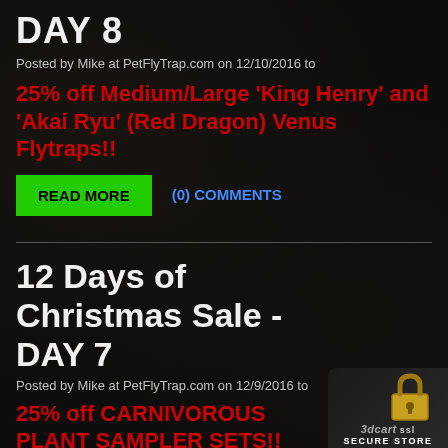DAY 8
Posted by Mike at PetFlyTrap.com on 12/10/2016 to
25% off Medium/Large 'King Henry' and 'Akai Ryu' (Red Dragon) Venus Flytraps!!
READ MORE
(0) COMMENTS
12 Days of Christmas Sale - DAY 7
Posted by Mike at PetFlyTrap.com on 12/9/2016 to
25% off CARNIVOROUS PLANT SAMPLER SETS!!